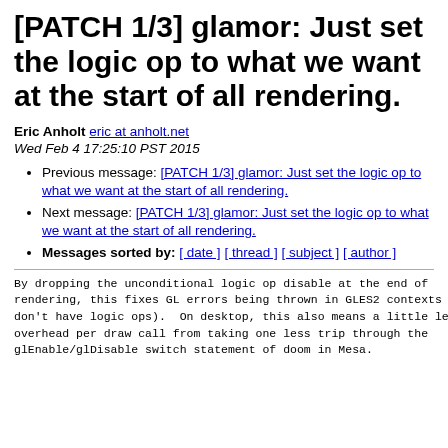[PATCH 1/3] glamor: Just set the logic op to what we want at the start of all rendering.
Eric Anholt eric at anholt.net
Wed Feb 4 17:25:10 PST 2015
Previous message: [PATCH 1/3] glamor: Just set the logic op to what we want at the start of all rendering.
Next message: [PATCH 1/3] glamor: Just set the logic op to what we want at the start of all rendering.
Messages sorted by: [ date ] [ thread ] [ subject ] [ author ]
By dropping the unconditional logic op disable at the end of
rendering, this fixes GL errors being thrown in GLES2 contexts (which
don't have logic ops).  On desktop, this also means a little less
overhead per draw call from taking one less trip through the
glEnable/glDisable switch statement of doom in Mesa.